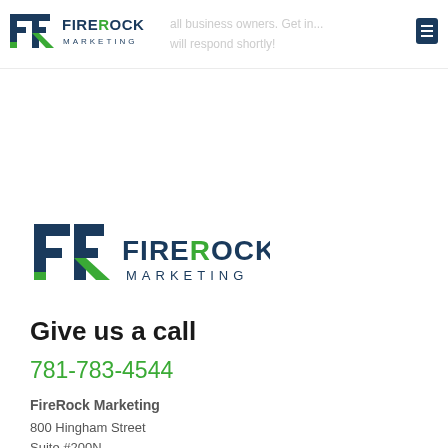FireRock Marketing — header with logo and faded text: 'all business owners. Get in... will respond shortly!'
[Figure (logo): FireRock Marketing logo (large) with stylized FR icon in dark navy and green, text FireRock Marketing]
Give us a call
781-783-4544
FireRock Marketing
800 Hingham Street
Suite #200N